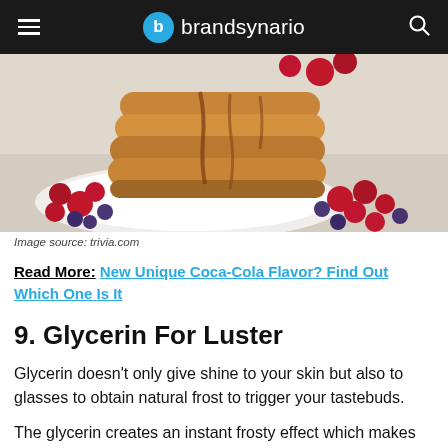brandsynario
[Figure (photo): Stack of pancakes with syrup drizzled on top, surrounded by fresh raspberries and blueberries on a white plate]
Image source: trivia.com
Read More: New Unique Coca-Cola Flavor? Find Out Which One Is It
9. Glycerin For Luster
Glycerin doesn't only give shine to your skin but also to glasses to obtain natural frost to trigger your tastebuds.
The glycerin creates an instant frosty effect which makes the beverage looks refreshing.